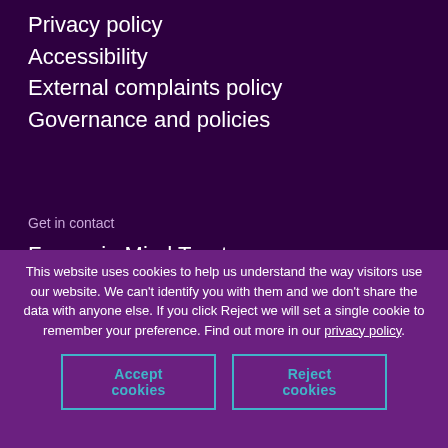Privacy policy
Accessibility
External complaints policy
Governance and policies
Get in contact
Forces in Mind Trust
Mountbarrow House
This website uses cookies to help us understand the way visitors use our website. We can't identify you with them and we don't share the data with anyone else. If you click Reject we will set a single cookie to remember your preference. Find out more in our privacy policy.